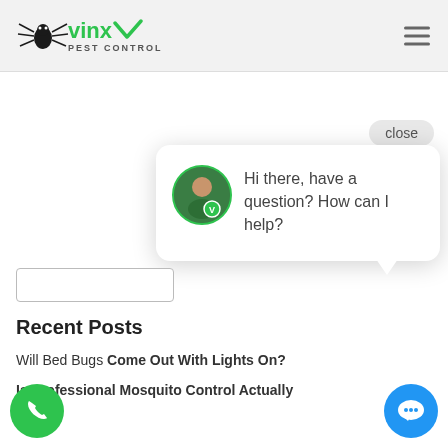[Figure (logo): Vinx Pest Control logo with spider icon and green text]
[Figure (screenshot): Hamburger menu icon (three horizontal lines)]
[Figure (screenshot): Close button for chat popup]
[Figure (screenshot): Chat popup with avatar and message: Hi there, have a question? How can I help?]
[Figure (screenshot): Search input box]
Recent Posts
Will Bed Bugs Come Out With Lights On?
Is Professional Mosquito Control Actually Work?
[Figure (illustration): Green phone call button circle]
[Figure (illustration): Blue chat button circle]